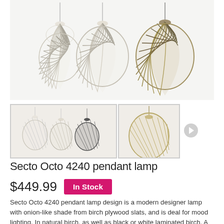[Figure (photo): Main product image showing three Secto Octo 4240 pendant lamps hanging — two white/cream colored and one dark wood/black, with vertical birch slat cage design forming an onion-like globe shape]
[Figure (photo): Thumbnail 1: Three pendant lamps hanging side by side — white, cream, and dark brown/black versions]
[Figure (photo): Thumbnail 2: Close-up of a single natural birch Secto Octo 4240 pendant lamp from the side]
Secto Octo 4240 pendant lamp
$449.99   In Stock
Secto Octo 4240 pendant lamp design is a modern designer lamp with onion-like shade from birch plywood slats, and is deal for mood lighting. In natural birch, as well as black or white laminated birch. A modern lighting design on sale on http://www.dezignlover.com/